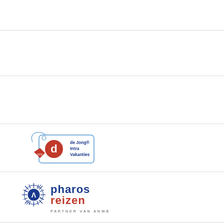[Figure (logo): Empty row 1 - no visible logo]
[Figure (logo): Empty row 2 - no visible logo]
[Figure (logo): Empty row 3 - no visible logo]
[Figure (logo): de Jong Intra Vakanties logo - price tag with red circle and blue d, text reads: de Jong Intra Vakanties, est 1973]
[Figure (logo): Pharos Reizen logo - circular sun/wheel icon with text pharos reizen in blue and red, tagline PARTNER VAN ANWB]
[Figure (logo): VacanceSelect logo - orange bird and VACANCESELECT text in orange and dark grey]